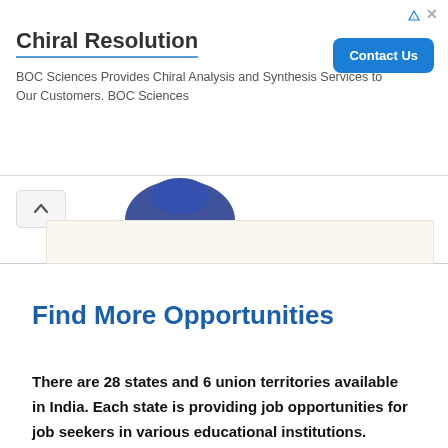[Figure (screenshot): Advertisement banner for Chiral Resolution by BOC Sciences with contact button]
Chiral Resolution
BOC Sciences Provides Chiral Analysis and Synthesis Services to Our Customers. BOC Sciences
[Figure (illustration): Partial view of a blue hat or graphic element with beige background]
Find More Opportunities
There are 28 states and 6 union territories available in India. Each state is providing job opportunities for job seekers in various educational institutions.